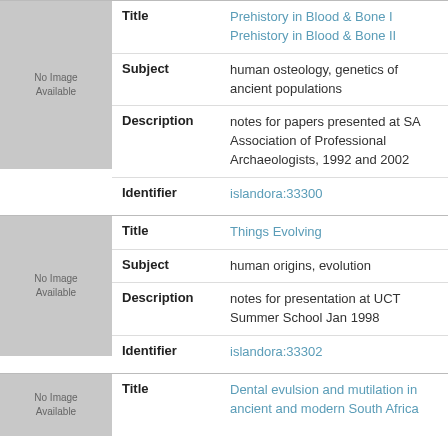| Field | Value |
| --- | --- |
| Title | Prehistory in Blood & Bone I
Prehistory in Blood & Bone II |
| Subject | human osteology, genetics of ancient populations |
| Description | notes for papers presented at SA Association of Professional Archaeologists, 1992 and 2002 |
| Identifier | islandora:33300 |
| Field | Value |
| --- | --- |
| Title | Things Evolving |
| Subject | human origins, evolution |
| Description | notes for presentation at UCT Summer School Jan 1998 |
| Identifier | islandora:33302 |
| Field | Value |
| --- | --- |
| Title | Dental evulsion and mutilation in ancient and modern South Africa |